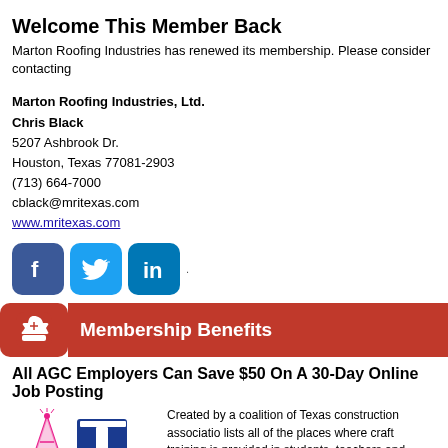Welcome This Member Back
Marton Roofing Industries has renewed its membership. Please consider contacting
Marton Roofing Industries, Ltd.
Chris Black
5207 Ashbrook Dr.
Houston, Texas 77081-2903
(713) 664-7000
cblack@mritexas.com
www.mritexas.com
[Figure (infographic): Social media icons: Facebook, Twitter, LinkedIn]
Membership Benefits
All AGC Employers Can Save $50 On A 30-Day Online Job Posting
[Figure (logo): Texas Construction Careers logo with party hat and TxDOT-style T logo]
Created by a coalition of Texas construction associations, lists all of the places where craft training is provided in students, teachers and military veterans. Moreover, it résumés.
To celebrate its first year, AGC employers can save $ this special promo code: 20MEMBER. It also applies a packages. Special promotion ends Wednesday, Septe help you.
Learn More...